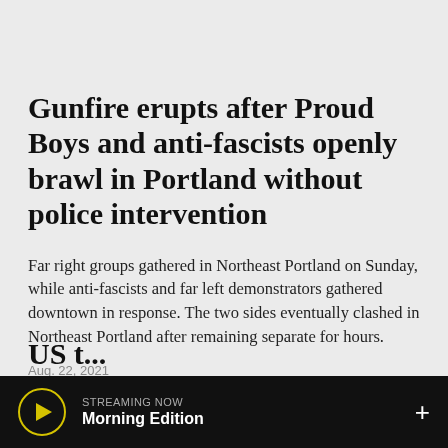Gunfire erupts after Proud Boys and anti-fascists openly brawl in Portland without police intervention
Far right groups gathered in Northeast Portland on Sunday, while anti-fascists and far left demonstrators gathered downtown in response. The two sides eventually clashed in Northeast Portland after remaining separate for hours.
Aug. 22, 2021
US...
[Figure (other): Audio player bar at bottom showing 'STREAMING NOW' with 'Morning Edition' show name, play button with yellow circle outline, and plus button on right]